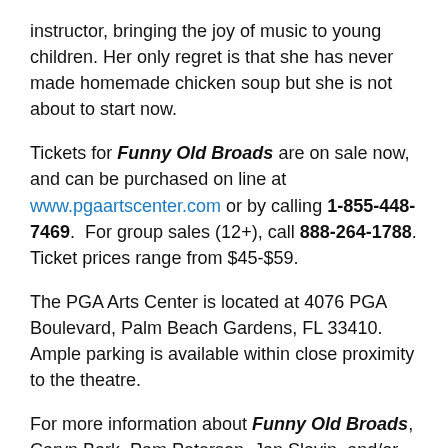instructor, bringing the joy of music to young children. Her only regret is that she has never made homemade chicken soup but she is not about to start now.
Tickets for Funny Old Broads are on sale now, and can be purchased on line at www.pgaartscenter.com or by calling 1-855-448-7469. For group sales (12+), call 888-264-1788. Ticket prices range from $45-$59.
The PGA Arts Center is located at 4076 PGA Boulevard, Palm Beach Gardens, FL 33410. Ample parking is available within close proximity to the theatre.
For more information about Funny Old Broads, Caryn Bark, Pam Peterson, Jan Slavin, and/or the PGA Arts Center please contact Carol Kassie at